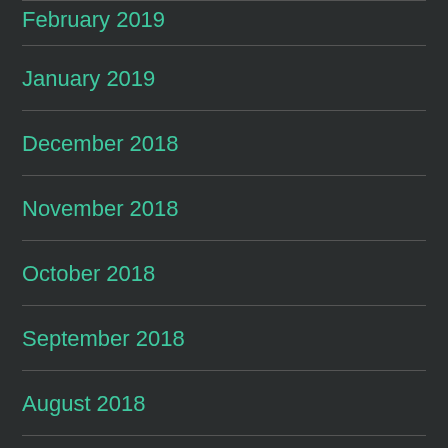February 2019
January 2019
December 2018
November 2018
October 2018
September 2018
August 2018
July 2018
May 2018